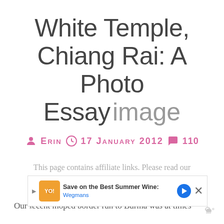White Temple, Chiang Rai: A Photo Essay image
ERIN   17 JANUARY 2012   110
This page contains affiliate links. Please read our disclosure for more info.
Our recent moped border run to Burma was at times exhausting, exhilarating but ultimately worth it when we stopped off in Chiang Rai...